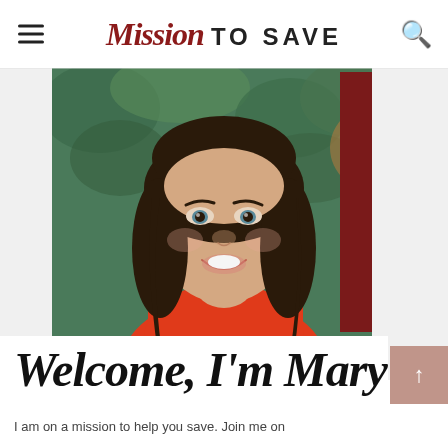Mission TO SAVE
[Figure (photo): Portrait photo of a smiling woman with long dark hair, wearing a red/orange top, against a green leafy background. Red decorative bars accent the image corners.]
Welcome, I'm Mary!
I am on a mission to help you save. Join me on